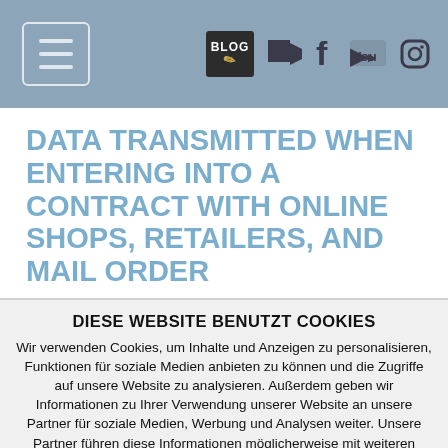Navigation bar with hamburger menu and social icons (BLOG, video, Facebook, YouTube, Instagram)
DATA TRANSMITTED WHEN ENTERING INTO A CONTRACT WITH ONLINE SHOPS, RETAILERS, AND MAIL ORDER
DIESE WEBSITE BENUTZT COOKIES
Wir verwenden Cookies, um Inhalte und Anzeigen zu personalisieren, Funktionen für soziale Medien anbieten zu können und die Zugriffe auf unsere Website zu analysieren. Außerdem geben wir Informationen zu Ihrer Verwendung unserer Website an unsere Partner für soziale Medien, Werbung und Analysen weiter. Unsere Partner führen diese Informationen möglicherweise mit weiteren Daten zusammen, die Sie ihnen bereitgestellt haben oder die sie im Rahmen Ihrer Nutzung der Dienste gesammelt haben. Weitere Informationen zu Cookies erhalten Sie in unseren Datenschutzhinweisen.
Ok, verstanden
Nicht zustimmen
mehr